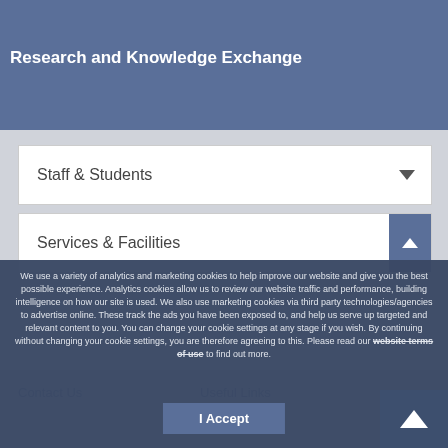[Figure (screenshot): University website screenshot showing top banner with blue background, play button area, photos, and navigation menu items]
Research and Knowledge Exchange
Staff & Students
Services & Facilities
We use a variety of analytics and marketing cookies to help improve our website and give you the best possible experience. Analytics cookies allow us to review our website traffic and performance, building intelligence on how our site is used. We also use marketing cookies via third party technologies/agencies to advertise online. These track the ads you have been exposed to, and help us serve up targeted and relevant content to you. You can change your cookie settings at any stage if you wish. By continuing without changing your cookie settings, you are therefore agreeing to this. Please read our website terms of use to find out more.
I Accept
Contact Us
Useful Links